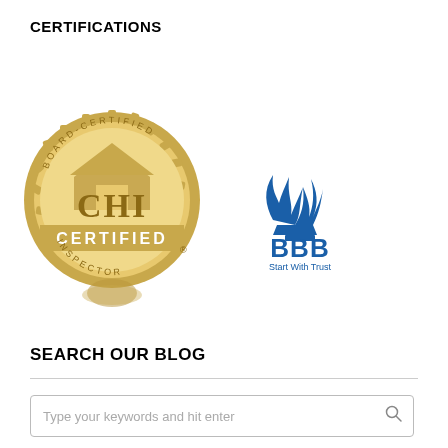CERTIFICATIONS
[Figure (logo): CHI Board-Certified Inspector gold seal logo]
[Figure (logo): BBB Better Business Bureau Start With Trust blue logo]
SEARCH OUR BLOG
Type your keywords and hit enter